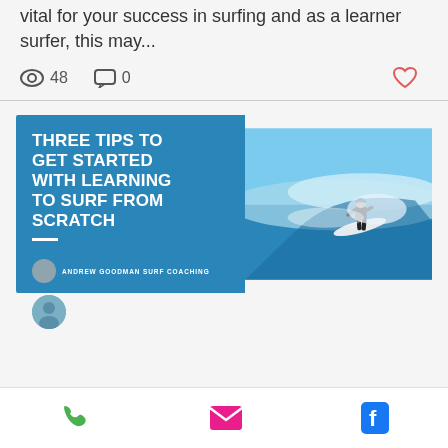vital for your success in surfing and as a learner surfer, this may...
48   0
[Figure (illustration): Blog post card with blue background showing text 'THREE TIPS TO GET STARTED WITH LEARNING TO SURF FROM SCRATCH' on the left and a photo of a surfer riding a wave on the right, with 'ANDREW GOODMAN SURF COACHING' branding at the bottom left]
[Figure (photo): Partial view of author avatar circle at the bottom]
Phone icon, Email icon, Facebook icon